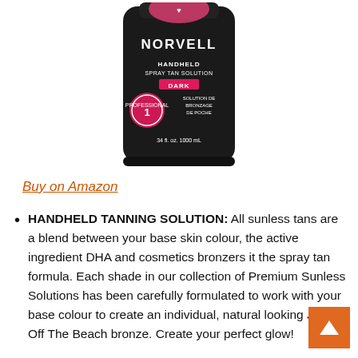[Figure (photo): Norvell Handheld Spray Tan Solution Dark bottle (34 fl. oz. / 1000 mL), black cylindrical container with pink accents, shown against white background. Label reads: NORVELL, HANDHELD SPRAY TAN SOLUTION, DARK, SOLUTION DE BRONZAGE DE POCHE, 34 fl. oz. 1000 mL, with a pink circular #1 badge.]
Buy on Amazon
HANDHELD TANNING SOLUTION: All sunless tans are a blend between your base skin colour, the active ingredient DHA and cosmetics bronzers it the spray tan formula. Each shade in our collection of Premium Sunless Solutions has been carefully formulated to work with your base colour to create an individual, natural looking Just Off The Beach bronze. Create your perfect glow!